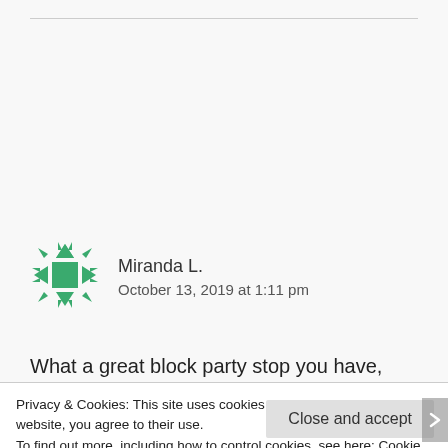[Figure (illustration): Green geometric avatar icon for user Miranda L.]
Miranda L.
October 13, 2019 at 1:11 pm
What a great block party stop you have, Shirley! I'd love to win the copy of “Our Lady of Victory.” It seems like such an amazing read!
Privacy & Cookies: This site uses cookies. By continuing to use this website, you agree to their use.
To find out more, including how to control cookies, see here: Cookie Policy
Close and accept